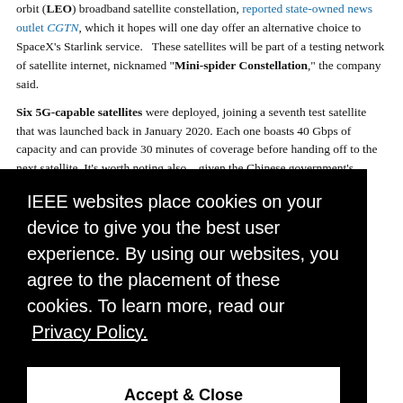orbit (LEO) broadband satellite constellation, reported state-owned news outlet CGTN, which it hopes will one day offer an alternative choice to SpaceX's Starlink service. These satellites will be part of a testing network of satellite internet, nicknamed "Mini-spider Constellation," the company said.
Six 5G-capable satellites were deployed, joining a seventh test satellite that was launched back in January 2020. Each one boasts 40 Gbps of capacity and can provide 30 minutes of coverage before handing off to the next satellite. It's worth noting also – given the Chinese government's penchant for keeping tabs on the ... and ... oy.
IEEE websites place cookies on your device to give you the best user experience. By using our websites, you agree to the placement of these cookies. To learn more, read our Privacy Policy.
Accept & Close